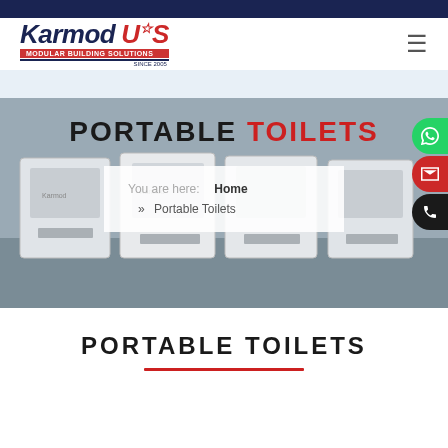[Figure (logo): Karmod US logo with modular building solutions tagline]
[Figure (photo): Hero banner showing white portable toilet units outdoors with overlay title PORTABLE TOILETS and breadcrumb navigation]
PORTABLE TOILETS